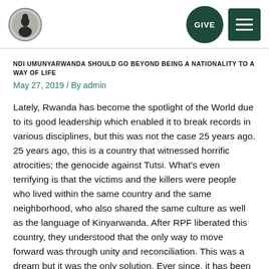[Figure (logo): Organization logo: circular emblem with a figure silhouette]
NDI UMUNYARWANDA SHOULD GO BEYOND BEING A NATIONALITY TO A WAY OF LIFE
May 27, 2019 / By admin
Lately, Rwanda has become the spotlight of the World due to its good leadership which enabled it to break records in various disciplines, but this was not the case 25 years ago. 25 years ago, this is a country that witnessed horrific atrocities; the genocide against Tutsi. What's even terrifying is that the victims and the killers were people who lived within the same country and the same neighborhood, who also shared the same culture as well as the language of Kinyarwanda. After RPF liberated this country, they understood that the only way to move forward was through unity and reconciliation. This was a dream but it was the only solution. Ever since, it has been the pillar of our development.